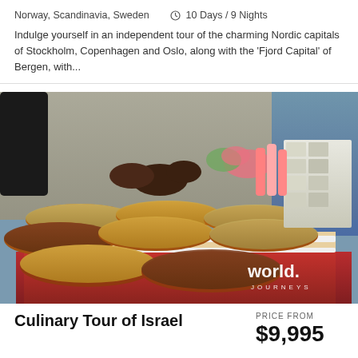Norway, Scandinavia, Sweden    ⊙ 10 Days / 9 Nights
Indulge yourself in an independent tour of the charming Nordic capitals of Stockholm, Copenhagen and Oslo, along with the 'Fjord Capital' of Bergen, with...
[Figure (photo): Market scene showing various nuts, seeds, and confectionery items displayed on wooden platters at an outdoor market stall, with colorful sweets and wrapped goods in the background. World Journeys logo visible in bottom right.]
Culinary Tour of Israel
PRICE FROM
$9,995